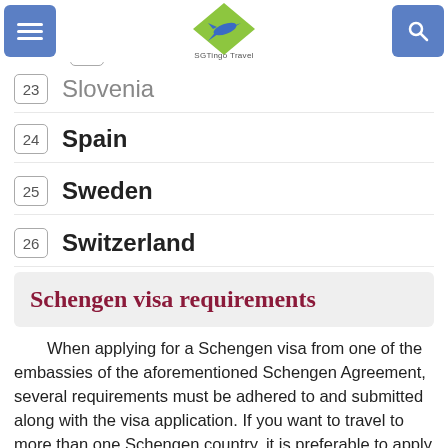SGTingo Travel navigation bar
21 Portugal
22 Slovakia
23 Slovenia
24 Spain
25 Sweden
26 Switzerland
Schengen visa requirements
When applying for a Schengen visa from one of the embassies of the aforementioned Schengen Agreement, several requirements must be adhered to and submitted along with the visa application. If you want to travel to more than one Schengen country, it is preferable to apply for a visa from the embassy of the country in which you want to stay for more days or to apply at the embassy of the country to visit first…